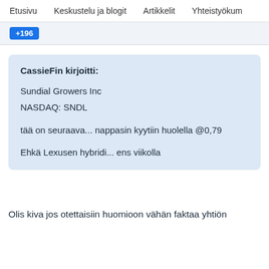Etusivu   Keskustelu ja blogit   Artikkelit   Yhteistyökum
+196
CassieFin kirjoitti:

Sundial Growers Inc
NASDAQ: SNDL

tää on seuraava... nappasin kyytiin huolella @0,79

Ehkä Lexusen hybridi... ens viikolla
Olis kiva jos otettaisiin huomioon vähän faktaa yhtiön